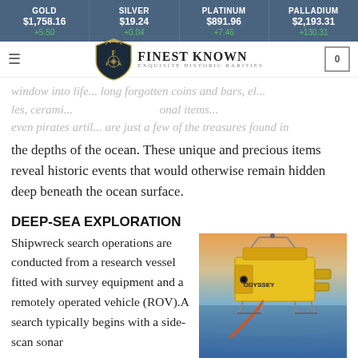GOLD $1,758.16 +5.50 | SILVER $19.24 +0.04 | PLATINUM $891.96 +7.46 | PALLADIUM $2,193.31 +130.31
[Figure (logo): Finest Known — Exquisite Historic Rarities logo with shield emblem]
window into life... long forgotten coins and bars, el... les, cerami... onal items... even pirates artil... are just a few of the treasures found in the depths of the ocean. These unique and precious items reveal historic events that would otherwise remain hidden deep beneath the ocean surface.
DEEP-SEA EXPLORATION
Shipwreck search operations are conducted from a research vessel fitted with survey equipment and a remotely operated vehicle (ROV).A search typically begins with a side-scan sonar
[Figure (photo): Yellow ODYSSEY remotely operated vehicle (ROV) being deployed at sea]